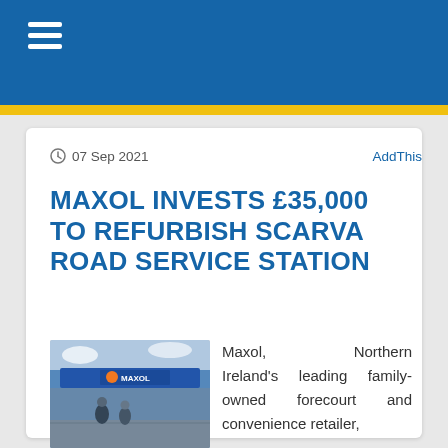≡
07 Sep 2021   AddThis
MAXOL INVESTS £35,000 TO REFURBISH SCARVA ROAD SERVICE STATION
[Figure (photo): Photo of Maxol service station exterior with Maxol branding sign and two people standing in front]
Maxol, Northern Ireland's leading family-owned forecourt and convenience retailer,